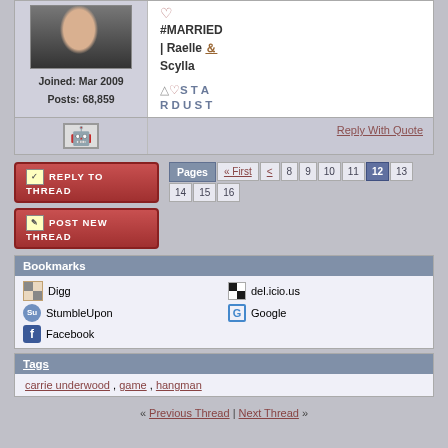Joined: Mar 2009
Posts: 68,859
#MARRIED | Raelle & Scylla
△♡STARDUST
Reply With Quote
[Figure (screenshot): Reply To Thread button]
[Figure (screenshot): Post New Thread button]
Pages « First < 8 9 10 11 12 13 14 15 16
Bookmarks
Digg
del.icio.us
StumbleUpon
Google
Facebook
Tags
carrie underwood , game , hangman
« Previous Thread | Next Thread »